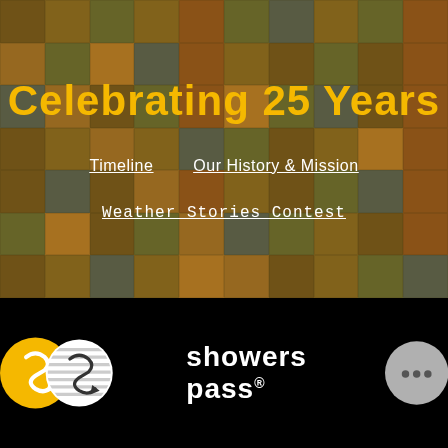[Figure (photo): Mosaic collage of outdoor cycling/weather gear photos with orange-yellow tint overlay forming the background of the top section]
Celebrating 25 Years
Timeline    Our History & Mission
Weather Stories Contest
[Figure (logo): Showers Pass logo: gold circle with S-shaped arrow icon on left, white circle with diagonal lines and S-arrow icon in center, 'showers pass' text in white, and gray chat bubble circle on right]